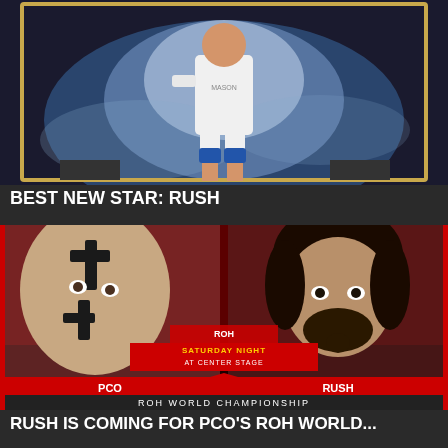[Figure (photo): Wrestler Rush entering the arena in white outfit with blue knee pads, bright stage lighting with smoke effects, gold border frame around image]
BEST NEW STAR: RUSH
[Figure (photo): ROH Saturday Night at Center Stage matchup graphic showing PCO (bald man with face paint) vs RUSH (man with curly hair and beard), ROH World Championship match promotion graphic with red background]
RUSH IS COMING FOR PCO'S ROH WORLD...